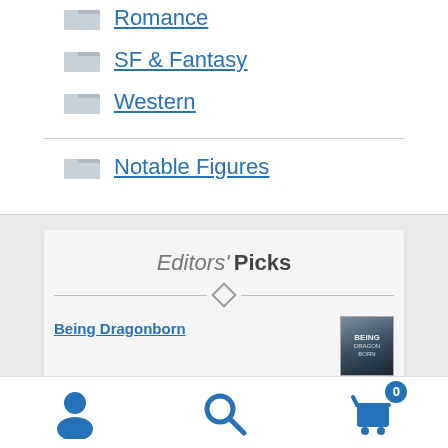Romance
SF & Fantasy
Western
Notable Figures
Editors' Picks
Being Dragonborn